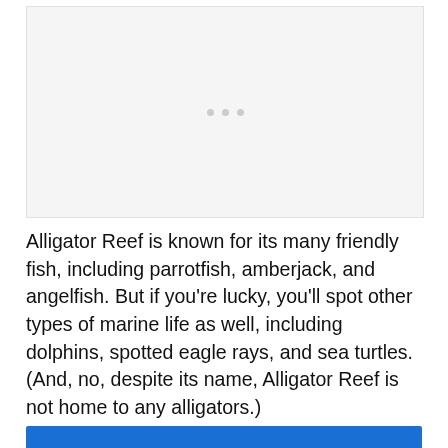[Figure (photo): Image placeholder with three grey dots indicating a loading or missing image area]
Alligator Reef is known for its many friendly fish, including parrotfish, amberjack, and angelfish. But if you're lucky, you'll spot other types of marine life as well, including dolphins, spotted eagle rays, and sea turtles. (And, no, despite its name, Alligator Reef is not home to any alligators.)